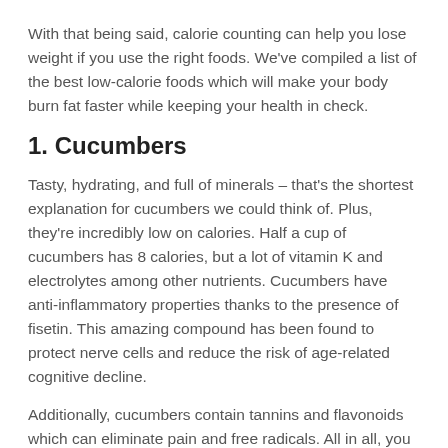With that being said, calorie counting can help you lose weight if you use the right foods. We've compiled a list of the best low-calorie foods which will make your body burn fat faster while keeping your health in check.
1. Cucumbers
Tasty, hydrating, and full of minerals – that's the shortest explanation for cucumbers we could think of. Plus, they're incredibly low on calories. Half a cup of cucumbers has 8 calories, but a lot of vitamin K and electrolytes among other nutrients. Cucumbers have anti-inflammatory properties thanks to the presence of fisetin. This amazing compound has been found to protect nerve cells and reduce the risk of age-related cognitive decline.
Additionally, cucumbers contain tannins and flavonoids which can eliminate pain and free radicals. All in all, you should really add cucumbers to your diet.